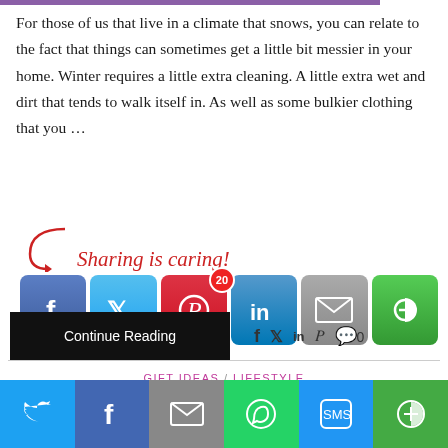For those of us that live in a climate that snows, you can relate to the fact that things can sometimes get a little bit messier in your home. Winter requires a little extra cleaning. A little extra wet and dirt that tends to walk itself in. As well as some bulkier clothing that you …
[Figure (infographic): Sharing is caring! text with social media share buttons: Facebook, Twitter, Pinterest (with badge 20), LinkedIn, Email, Flipboard]
[Figure (infographic): Continue Reading button and small social icons (f, twitter, in, P, comment 0)]
GIFT IDEAS / LIFESTYLE
10 Great Cozy Gift Ideas for Her
By TiffanyAP on Sunday, October 25, 2020
[Figure (infographic): Bottom share bar with Twitter, Facebook, Email, WhatsApp, SMS, Flipboard buttons]